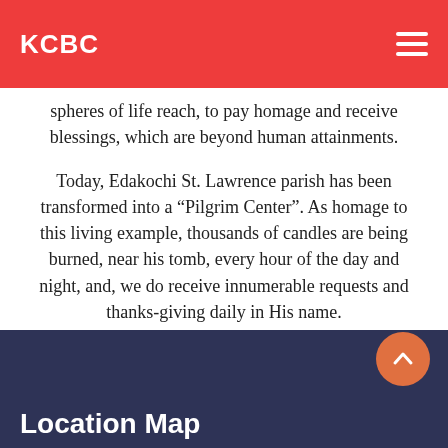KCBC
spheres of life reach, to pay homage and receive blessings, which are beyond human attainments.
Today, Edakochi St. Lawrence parish has been transformed into a “Pilgrim Center”. As homage to this living example, thousands of candles are being burned, near his tomb, every hour of the day and night, and, we do receive innumerable requests and thanks-giving daily in His name.
Website
Location Map